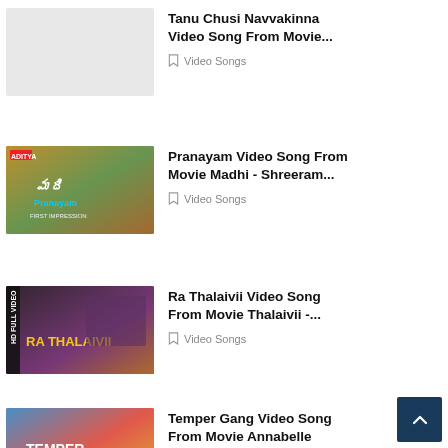[Figure (photo): Thumbnail placeholder (gray) for Tanu Chusi Navvakinna video song]
Tanu Chusi Navvakinna Video Song From Movie...
Video Songs
[Figure (photo): Thumbnail for Pranayam video song from movie Madhi]
Pranayam Video Song From Movie Madhi - Shreeram...
Video Songs
[Figure (photo): Thumbnail for Ra Thalaivii video song from movie Thalaivii - HD Full Video]
Ra Thalaivii Video Song From Movie Thalaivii -...
Video Songs
[Figure (photo): Thumbnail for Temper Gang video song from movie Annabelle]
Temper Gang Video Song From Movie Annabelle